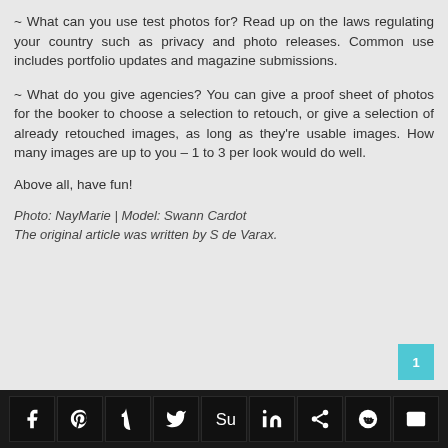~ What can you use test photos for? Read up on the laws regulating your country such as privacy and photo releases. Common use includes portfolio updates and magazine submissions.
~ What do you give agencies? You can give a proof sheet of photos for the booker to choose a selection to retouch, or give a selection of already retouched images, as long as they're usable images. How many images are up to you – 1 to 3 per look would do well.
Above all, have fun!
Photo: NayMarie | Model: Swann Cardot
The original article was written by S de Varax.
[Figure (other): Social media sharing icons bar: Facebook, Pinterest, Tumblr, Twitter, StumbleUpon, LinkedIn, a sharing icon, Reddit, Email]